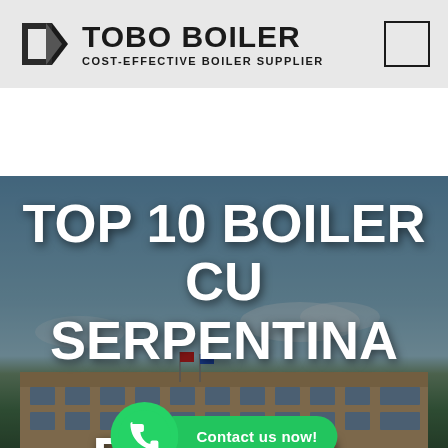[Figure (logo): TOBO BOILER logo with triangular black icon and text 'TOBO BOILER / COST-EFFECTIVE BOILER SUPPLIER', plus a small square outline on the right]
[Figure (photo): Hero image of an industrial boiler manufacturing facility building, large modern factory with blue sky background. Overlaid with large white bold text reading 'TOP 10 BOILER CU SERPENTINA ROMSTAL OFERTE 2021' and a WhatsApp contact button.]
TOP 10 BOILER CU SERPENTINA ROMSTAL OFERTE 2021
Contact us now!
Home | Top 10 boiler cu serpentina romstal Oferte 2021